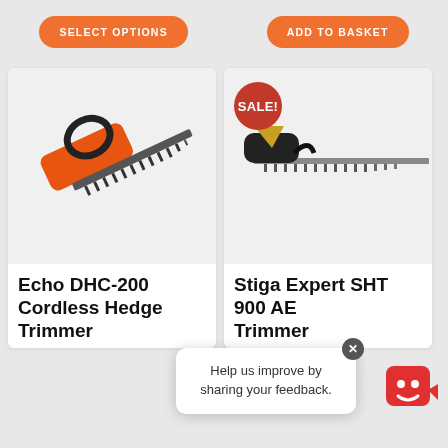[Figure (screenshot): Two product cards for garden tools. Left card: orange/red hedge trimmer (Echo DHC-200 Cordless Hedge Trimmer). Right card: black/gold hedge trimmer with SALE badge (Stiga Expert SHT 900 AE Trimmer). Top bar has SELECT OPTIONS and ADD TO BASKET orange buttons. A feedback popup overlay is visible at the bottom center.]
SELECT OPTIONS
ADD TO BASKET
SALE!
Echo DHC-200 Cordless Hedge Trimmer
Stiga Expert SHT 900 AE Trimmer
Help us improve by sharing your feedback.